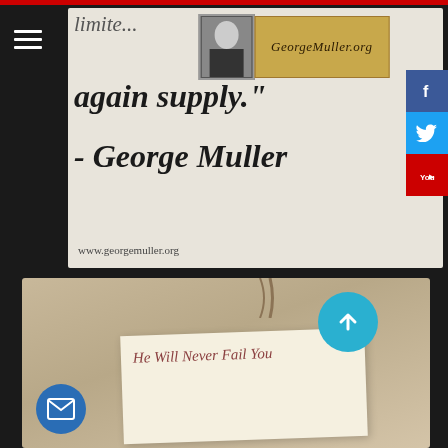[Figure (screenshot): George Muller quote card with logo showing 'again supply.' and attribution '- George Muller' with website www.georgemuller.org]
[Figure (photo): Vintage envelope/letter on aged paper background with text 'He Will Never Fail You', with email icon (blue circle) on left and scroll-to-top button (cyan circle) on right]